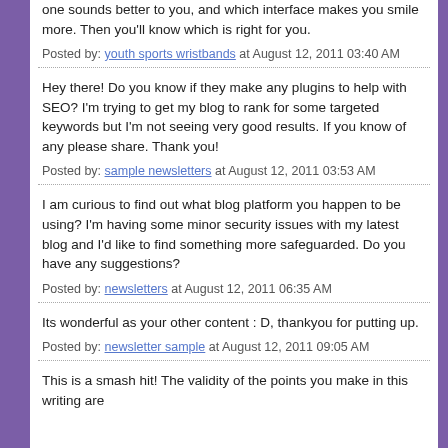one sounds better to you, and which interface makes you smile more. Then you'll know which is right for you.
Posted by: youth sports wristbands at August 12, 2011 03:40 AM
Hey there! Do you know if they make any plugins to help with SEO? I'm trying to get my blog to rank for some targeted keywords but I'm not seeing very good results. If you know of any please share. Thank you!
Posted by: sample newsletters at August 12, 2011 03:53 AM
I am curious to find out what blog platform you happen to be using? I'm having some minor security issues with my latest blog and I'd like to find something more safeguarded. Do you have any suggestions?
Posted by: newsletters at August 12, 2011 06:35 AM
Its wonderful as your other content : D, thankyou for putting up.
Posted by: newsletter sample at August 12, 2011 09:05 AM
This is a smash hit! The validity of the points you make in this writing are